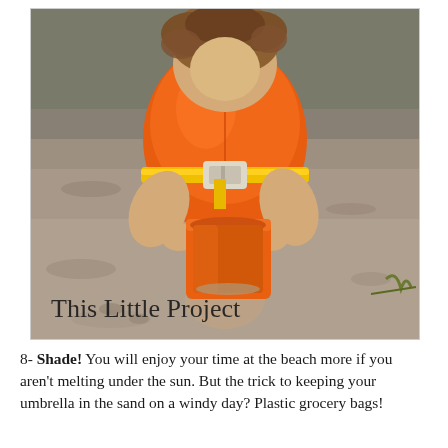[Figure (photo): A young child wearing an orange life jacket holding an orange bucket while playing in the sand at a beach. The child is bending over the bucket. Watermark text reads 'This Little Project' in handwritten style at the bottom left of the photo.]
8- Shade!  You will enjoy your time at the beach more if you aren't melting under the sun.  But the trick to keeping your umbrella in the sand on a windy day?  Plastic grocery bags!